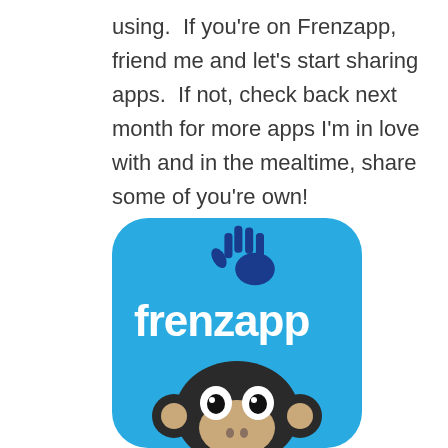using.  If you're on Frenzapp, friend me and let's start sharing apps.  If not, check back next month for more apps I'm in love with and in the mealtime, share some of you're own!
[Figure (logo): Frenzapp app icon: blue rounded square with 'frenzapp' text in white, a dark blue hand/wave icon above, and a cartoon monkey face at the bottom.]